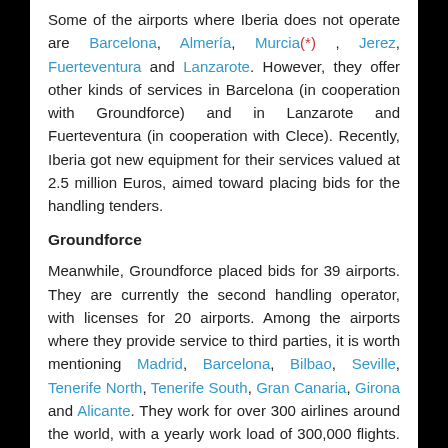Some of the airports where Iberia does not operate are Barcelona, Almería, Murcia(*), Jerez, Fuerteventura and Lanzarote. However, they offer other kinds of services in Barcelona (in cooperation with Groundforce) and in Lanzarote and Fuerteventura (in cooperation with Clece). Recently, Iberia got new equipment for their services valued at 2.5 million Euros, aimed toward placing bids for the handling tenders.
Groundforce
Meanwhile, Groundforce placed bids for 39 airports. They are currently the second handling operator, with licenses for 20 airports. Among the airports where they provide service to third parties, it is worth mentioning Madrid, Barcelona, Bilbao, Seville, Tenerife North, Tenerife South, Gran Canaria, Girona and Alicante. They work for over 300 airlines around the world, with a yearly work load of 300,000 flights. Moreover, they have the main cargo terminal network in Spain with a presence in 14 airports.
Swissport